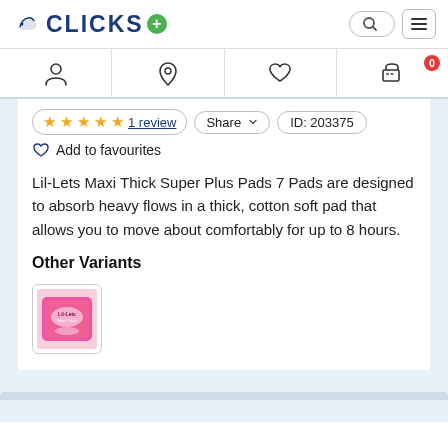CLICKS
[Figure (screenshot): Clicks pharmacy logo with bird icon and green plus sign]
[Figure (screenshot): Navigation icons: user/account, location pin, heart/favourites, shopping cart with 0 badge]
★★★★★ 1 review | Share | ID: 203375 | Add to favourites
Lil-Lets Maxi Thick Super Plus Pads 7 Pads are designed to absorb heavy flows in a thick, cotton soft pad that allows you to move about comfortably for up to 8 hours.
Other Variants
[Figure (photo): Lil-Lets Maxi Thick Super Plus Pads product thumbnail image]